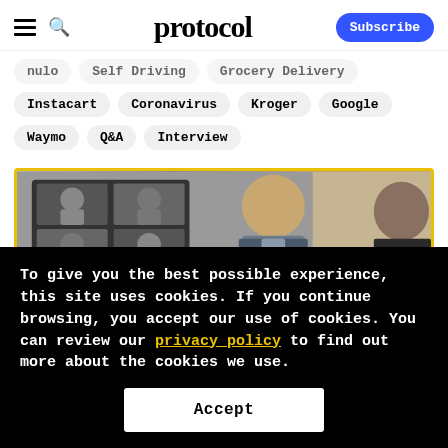protocol — Subscribe
nulo  Self Driving  Grocery Delivery
Instacart  Coronavirus  Kroger  Google
Waymo  Q&A  Interview
[Figure (photo): A man in a suit looking at a screen showing a video conference with multiple participants; another person visible on the right side.]
To give you the best possible experience, this site uses cookies. If you continue browsing, you accept our use of cookies. You can review our privacy policy to find out more about the cookies we use.
Accept